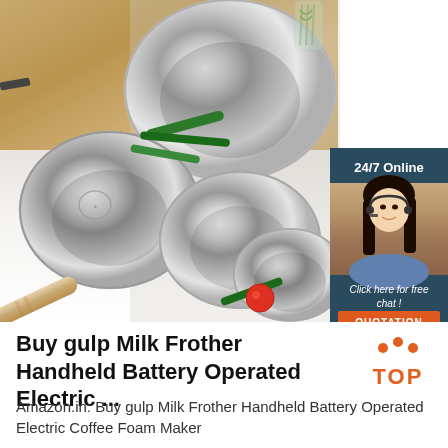[Figure (photo): Product advertisement image showing stainless steel mixing bowls of various sizes arranged on a kitchen counter with vegetables, a rolling pin, and a wooden board background. An overlaid chat widget shows '24/7 Online', a woman with a headset, 'Click here for free chat!' text, and an orange 'QUOTATION' button.]
Buy gulp Milk Frother Handheld Battery Operated Electric ...
Amazon.in: Buy gulp Milk Frother Handheld Battery Operated Electric Coffee Foam Maker